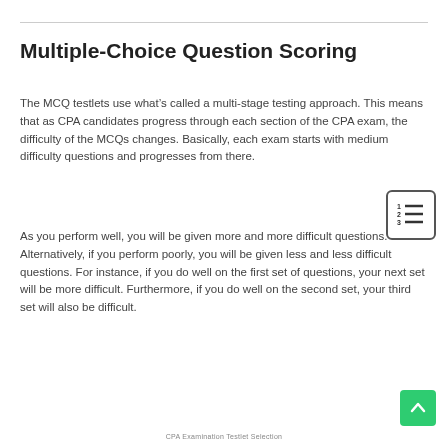Multiple-Choice Question Scoring
The MCQ testlets use what's called a multi-stage testing approach. This means that as CPA candidates progress through each section of the CPA exam, the difficulty of the MCQs changes. Basically, each exam starts with medium difficulty questions and progresses from there.
As you perform well, you will be given more and more difficult questions. Alternatively, if you perform poorly, you will be given less and less difficult questions. For instance, if you do well on the first set of questions, your next set will be more difficult. Furthermore, if you do well on the second set, your third set will also be difficult.
CPA Examination Testlet Selection